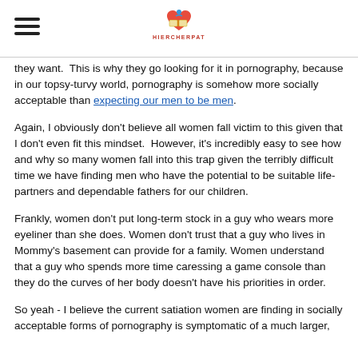[hamburger menu icon] [HIERCHERPAT logo]
they want.  This is why they go looking for it in pornography, because in our topsy-turvy world, pornography is somehow more socially acceptable than expecting our men to be men.
Again, I obviously don't believe all women fall victim to this given that I don't even fit this mindset.  However, it's incredibly easy to see how and why so many women fall into this trap given the terribly difficult time we have finding men who have the potential to be suitable life-partners and dependable fathers for our children.
Frankly, women don't put long-term stock in a guy who wears more eyeliner than she does. Women don't trust that a guy who lives in Mommy's basement can provide for a family. Women understand that a guy who spends more time caressing a game console than they do the curves of her body doesn't have his priorities in order.
So yeah - I believe the current satiation women are finding in socially acceptable forms of pornography is symptomatic of a much larger,